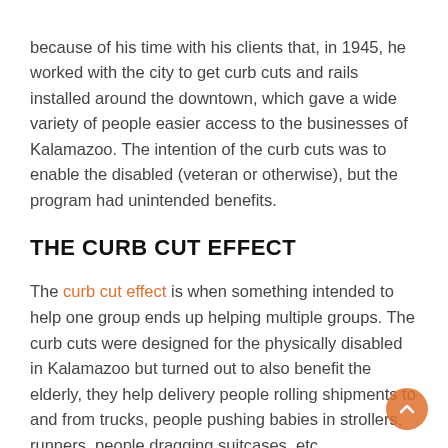because of his time with his clients that, in 1945, he worked with the city to get curb cuts and rails installed around the downtown, which gave a wide variety of people easier access to the businesses of Kalamazoo. The intention of the curb cuts was to enable the disabled (veteran or otherwise), but the program had unintended benefits.
THE CURB CUT EFFECT
The curb cut effect is when something intended to help one group ends up helping multiple groups. The curb cuts were designed for the physically disabled in Kalamazoo but turned out to also benefit the elderly, they help delivery people rolling shipments to and from trucks, people pushing babies in strollers, runners, people dragging suitcases, etc.
We can see the curb cut effect again with television closed captioning. What was designed to assist the